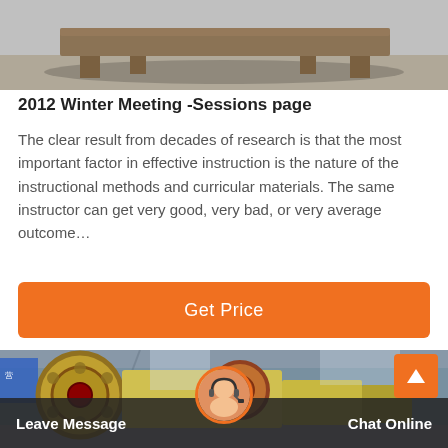[Figure (photo): Top portion of an industrial table or platform on a sandy/concrete floor, shown from a low angle.]
2012 Winter Meeting -Sessions page
The clear result from decades of research is that the most important factor in effective instruction is the nature of the instructional methods and curricular materials. The same instructor can get very good, very bad, or very average outcome…
[Figure (other): Orange 'Get Price' call-to-action button]
[Figure (photo): Industrial jaw crusher machine with large yellow flywheel in a factory/warehouse setting, with a back-to-top orange button overlay and a bottom bar showing 'Leave Message' and 'Chat Online' with a customer service avatar.]